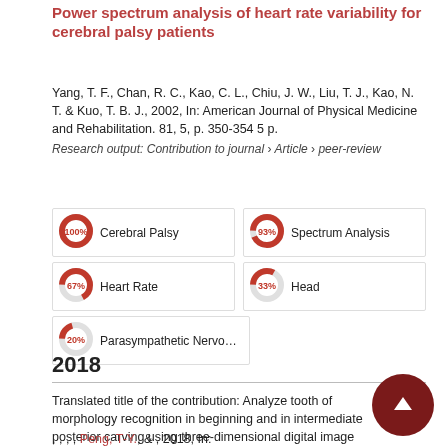Power spectrum analysis of heart rate variability for cerebral palsy patients
Yang, T. F., Chan, R. C., Kao, C. L., Chiu, J. W., Liu, T. J., Kao, N. T. & Kuo, T. B. J., 2002, In: American Journal of Physical Medicine and Rehabilitation. 81, 5, p. 350-354 5 p.
Research output: Contribution to journal › Article › peer-review
100% Cerebral Palsy
93% Spectrum Analysis
67% Heart Rate
33% Head
20% Parasympathetic Nervous System
2018
Translated title of the contribution: Analyze tooth of morphology recognition in beginning and in intermediate posterior carving using three-dimensional digital image
, , , , Peng, T-Y., & , 2018, In: Journal of the ... Academy of Dental Technology. 29, 1, p. 1-7